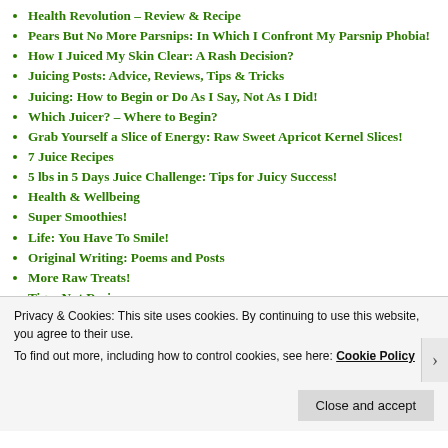Health Revolution – Review & Recipe
Pears But No More Parsnips: In Which I Confront My Parsnip Phobia!
How I Juiced My Skin Clear: A Rash Decision?
Juicing Posts: Advice, Reviews, Tips & Tricks
Juicing: How to Begin or Do As I Say, Not As I Did!
Which Juicer? – Where to Begin?
Grab Yourself a Slice of Energy: Raw Sweet Apricot Kernel Slices!
7 Juice Recipes
5 lbs in 5 Days Juice Challenge: Tips for Juicy Success!
Health & Wellbeing
Super Smoothies!
Life: You Have To Smile!
Original Writing: Poems and Posts
More Raw Treats!
Tiger Nut Recipes
Privacy & Cookies: This site uses cookies. By continuing to use this website, you agree to their use.
To find out more, including how to control cookies, see here: Cookie Policy
Close and accept